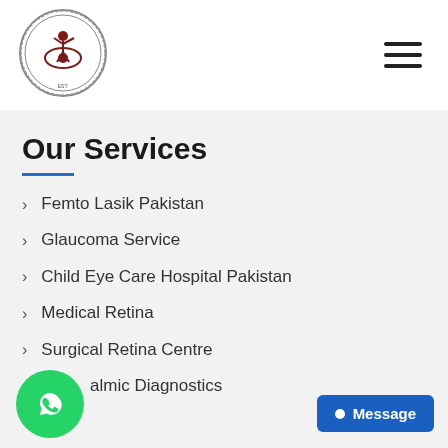[Figure (logo): Amana Eye Hospital circular logo with an eye and person figure in the center, text around the border]
Our Services
Femto Lasik Pakistan
Glaucoma Service
Child Eye Care Hospital Pakistan
Medical Retina
Surgical Retina Centre
almic Diagnostics